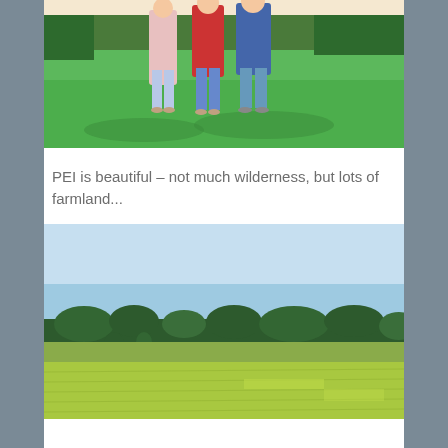[Figure (photo): Children standing together on a green lawn, partial view showing lower bodies and a treeline/garden area in background. Bright sunny day.]
PEI is beautiful – not much wilderness, but lots of farmland...
[Figure (photo): PEI farmland landscape with flat green fields in the foreground, a row of trees in the middle distance, and a pale blue sky above.]